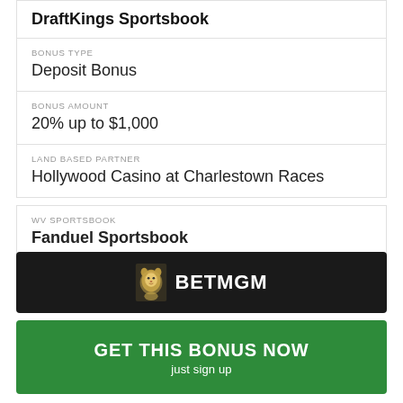DraftKings Sportsbook
| BONUS TYPE | Deposit Bonus |
| BONUS AMOUNT | 20% up to $1,000 |
| LAND BASED PARTNER | Hollywood Casino at Charlestown Races |
WV SPORTSBOOK
Fanduel Sportsbook
BONUS TYPE
Bet $5, Win $150
[Figure (logo): BetMGM logo on dark background]
GET THIS BONUS NOW
just sign up